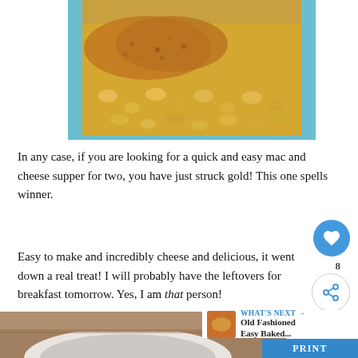[Figure (photo): Baked macaroni and cheese in a light blue baking dish, topped with golden breadcrumbs, close-up overhead view]
In any case, if you are looking for a quick and easy mac and cheese supper for two, you have just struck gold!  This one spells winner.
Easy to make and incredibly cheese and delicious, it went down a real treat!  I will probably have the leftovers for breakfast tomorrow. Yes, I am that person!
[Figure (photo): Partial view of a white bowl on a wooden surface, bottom of page]
WHAT'S NEXT → Old Fashioned Easy Baked...
PRINT